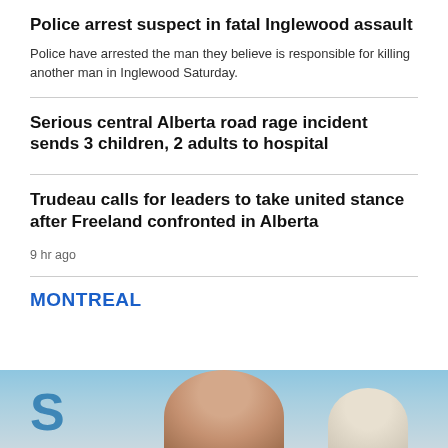Police arrest suspect in fatal Inglewood assault
Police have arrested the man they believe is responsible for killing another man in Inglewood Saturday.
Serious central Alberta road rage incident sends 3 children, 2 adults to hospital
Trudeau calls for leaders to take united stance after Freeland confronted in Alberta
9 hr ago
MONTREAL
[Figure (photo): Partial photo showing people against a light blue background, with partially visible letter 'S' on the left side.]